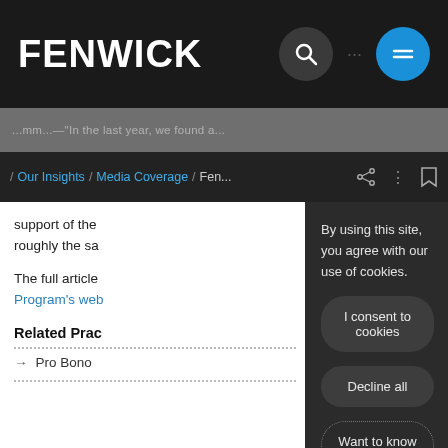FENWICK
/ Our Insights / Media Coverage / Fen...
support of the roughly the sa
The full article Program's web
Related Prac
→ Pro Bono
By using this site, you agree with our use of cookies.
I consent to cookies
Decline all
Want to know more?
Privacy policy